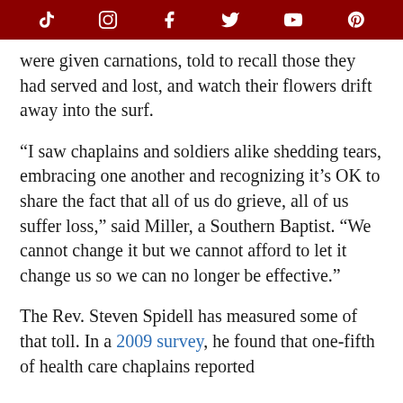[Social media icons: TikTok, Instagram, Facebook, Twitter/X, YouTube, Pinterest]
were given carnations, told to recall those they had served and lost, and watch their flowers drift away into the surf.

“I saw chaplains and soldiers alike shedding tears, embracing one another and recognizing it’s OK to share the fact that all of us do grieve, all of us suffer loss,” said Miller, a Southern Baptist. “We cannot change it but we cannot afford to let it change us so we can no longer be effective.”

The Rev. Steven Spidell has measured some of that toll. In a 2009 survey, he found that one-fifth of health care chaplains reported